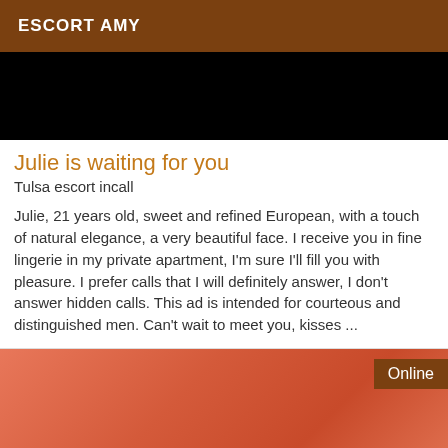ESCORT AMY
[Figure (photo): Dark/black image at top of listing card]
Julie is waiting for you
Tulsa escort incall
Julie, 21 years old, sweet and refined European, with a touch of natural elegance, a very beautiful face. I receive you in fine lingerie in my private apartment, I'm sure I'll fill you with pleasure. I prefer calls that I will definitely answer, I don't answer hidden calls. This ad is intended for courteous and distinguished men. Can't wait to meet you, kisses ...
[Figure (photo): Photo showing person wearing coral/salmon colored lace lingerie, with Online badge overlay]